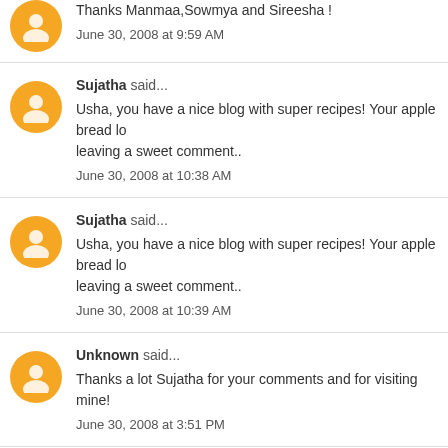Thanks Manmaa,Sowmya and Sireesha !  June 30, 2008 at 9:59 AM
Sujatha said... Usha, you have a nice blog with super recipes! Your apple bread lo... leaving a sweet comment.. June 30, 2008 at 10:38 AM
Sujatha said... Usha, you have a nice blog with super recipes! Your apple bread lo... leaving a sweet comment.. June 30, 2008 at 10:39 AM
Unknown said... Thanks a lot Sujatha for your comments and for visiting mine! June 30, 2008 at 3:51 PM
Chef E said... I picked up some fresh apples, and going by the Indian grocer toda...